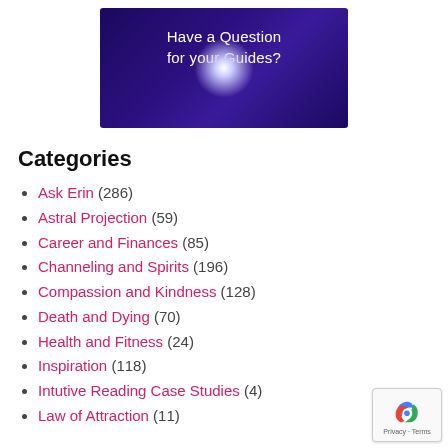[Figure (illustration): Dark purple/indigo banner image with glowing white star/light burst at bottom center and white text reading 'Have a Question for your Guides?']
Categories
Ask Erin (286)
Astral Projection (59)
Career and Finances (85)
Channeling and Spirits (196)
Compassion and Kindness (128)
Death and Dying (70)
Health and Fitness (24)
Inspiration (118)
Intutive Reading Case Studies (4)
Law of Attraction (11)